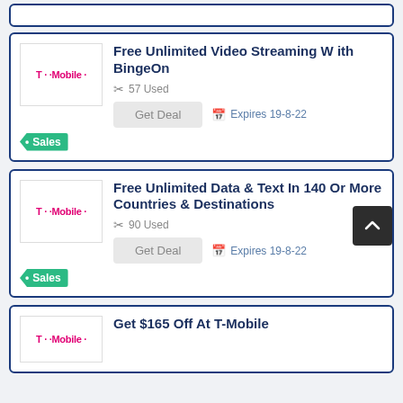[Figure (other): T-Mobile logo box for first deal card]
Free Unlimited Video Streaming With BingeOn
57 Used
Get Deal
Expires 19-8-22
Sales
[Figure (other): T-Mobile logo box for second deal card]
Free Unlimited Data & Text In 140 Or More Countries & Destinations
90 Used
Get Deal
Expires 19-8-22
Sales
[Figure (other): T-Mobile logo box for third deal card (partial)]
Get $165 Off At T-Mobile